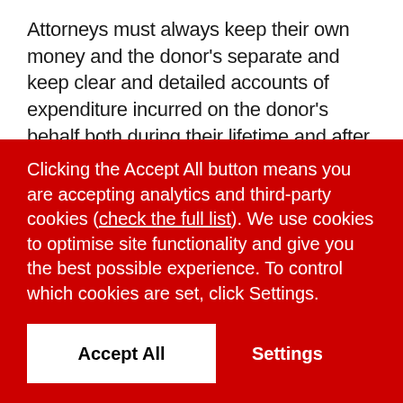Attorneys must always keep their own money and the donor's separate and keep clear and detailed accounts of expenditure incurred on the donor's behalf both during their lifetime and after their death.
Clicking the Accept All button means you are accepting analytics and third-party cookies (check the full list). We use cookies to optimise site functionality and give you the best possible experience. To control which cookies are set, click Settings.